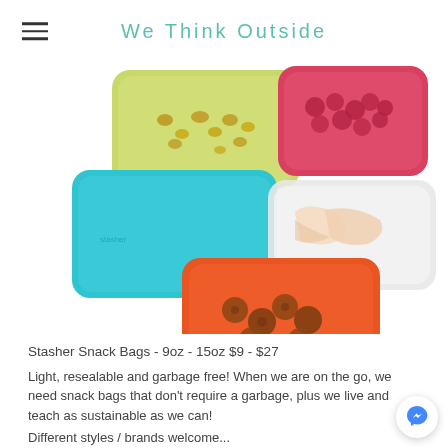We Think Outside
[Figure (photo): Four colorful Stasher reusable silicone snack bags arranged in an overlapping layout: yellow-green bag with nuts (top left), pink/red bag with raspberries (top right), teal/blue empty bag (middle left), clear/translucent bag with apple slices (middle right), and orange bag with energy balls/snacks (bottom center).]
Stasher Snack Bags - 9oz - 15oz $9 - $27
Light, resealable and garbage free! When we are on the go, we need snack bags that don't require a garbage, plus we live and teach as sustainable as we can!
Different styles / brands welcome...